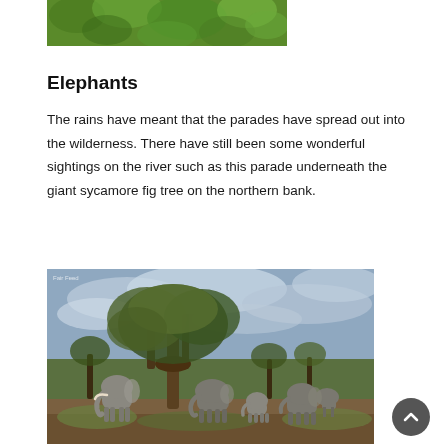[Figure (photo): Top portion of a green foliage/tree canopy photo, cropped at the top of the page]
Elephants
The rains have meant that the parades have spread out into the wilderness. There have still been some wonderful sightings on the river such as this parade underneath the giant sycamore fig tree on the northern bank.
[Figure (photo): A herd of elephants gathered beneath a large sycamore fig tree on a grassy riverbank, with a dramatic cloudy sky in the background]